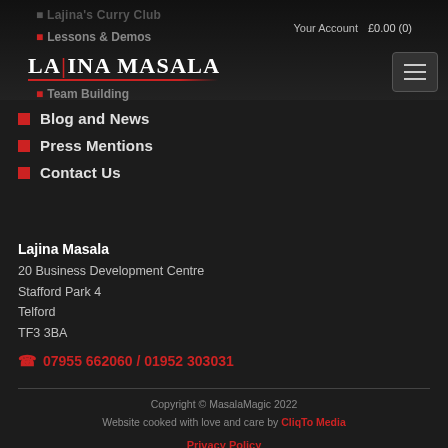Lajina's Curry Club | Lessons & Demos | Lajina Masala | Team Building
Blog and News
Press Mentions
Contact Us
Lajina Masala
20 Business Development Centre
Stafford Park 4
Telford
TF3 3BA
07955 662060 / 01952 303031
Copyright © MasalaMagic 2022
Website cooked with love and care by CliqTo Media
Privacy Policy